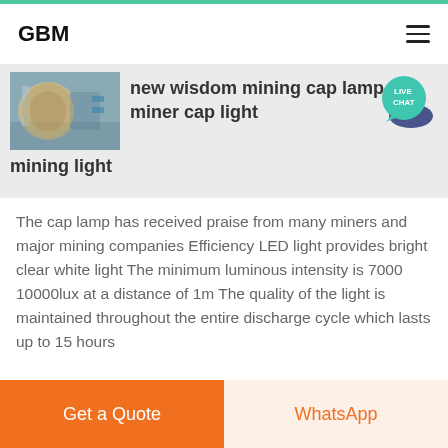GBM
new wisdom mining cap lamp miner cap light mining light
[Figure (photo): Industrial machinery photo, large cylindrical vessel in a factory setting]
The cap lamp has received praise from many miners and major mining companies Efficiency LED light provides bright clear white light The minimum luminous intensity is 7000 10000lux at a distance of 1m The quality of the light is maintained throughout the entire discharge cycle which lasts up to 15 hours
Get a Quote
WhatsApp